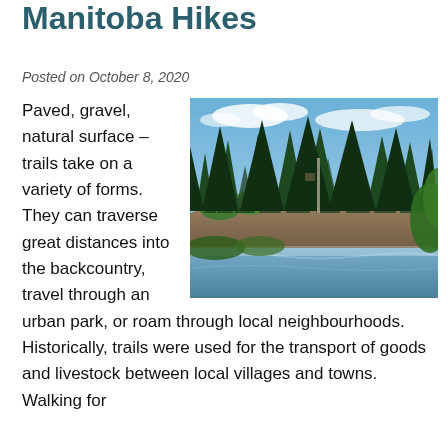Manitoba Hikes
Posted on October 8, 2020
[Figure (photo): Forest scene with tall evergreen trees reflected in a still pond, blue sky with clouds overhead, lush green vegetation in the foreground and right side.]
Paved, gravel, natural surface – trails take on a variety of forms. They can traverse great distances into the backcountry, travel through an urban park, or roam through local neighbourhoods. Historically, trails were used for the transport of goods and livestock between local villages and towns. Walking for